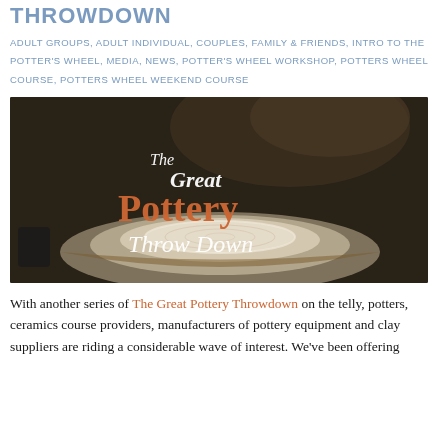THROWDOWN
ADULT GROUPS, ADULT INDIVIDUAL, COUPLES, FAMILY & FRIENDS, INTRO TO THE POTTER'S WHEEL, MEDIA, NEWS, POTTER'S WHEEL WORKSHOP, POTTERS WHEEL COURSE, POTTERS WHEEL WEEKEND COURSE
[Figure (photo): The Great Pottery Throw Down TV show title card over a potter's wheel with clay being shaped, showing text 'The Great Pottery Throw Down' in white and orange serif fonts]
With another series of The Great Pottery Throwdown on the telly, potters, ceramics course providers, manufacturers of pottery equipment and clay suppliers are riding a considerable wave of interest. We've been offering